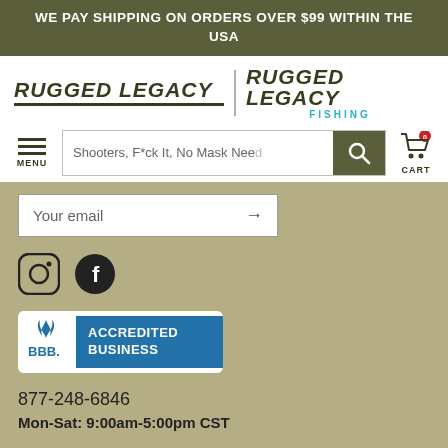WE PAY SHIPPING ON ORDERS OVER $99 WITHIN THE USA
[Figure (logo): Rugged Legacy and Rugged Legacy Fishing logos side by side with divider]
Shooters, F*ck It, No Mask Nee (search bar) MENU CART
Your email →
[Figure (logo): Instagram and Facebook social media icons]
[Figure (logo): BBB Accredited Business badge]
877-248-6846
Mon-Sat: 9:00am-5:00pm CST
Privacy Policy    Terms of Use